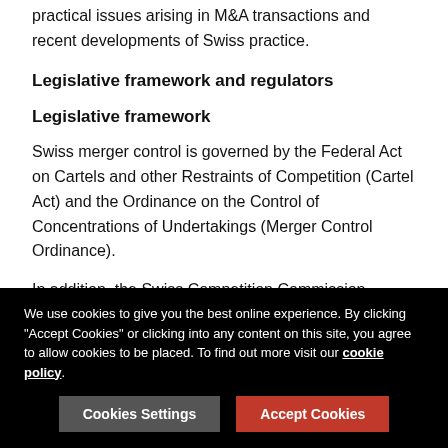practical issues arising in M&A transactions and recent developments of Swiss practice.
Legislative framework and regulators
Legislative framework
Swiss merger control is governed by the Federal Act on Cartels and other Restraints of Competition (Cartel Act) and the Ordinance on the Control of Concentrations of Undertakings (Merger Control Ordinance).
In addition, the Swiss Competition Commission (ComCo) and its Secretariat (Secretariat) have adopted communications and guidelines on the application of the relevant merger control provisions.
Swiss merger control law is in many respects similar to, and
We use cookies to give you the best online experience. By clicking "Accept Cookies" or clicking into any content on this site, you agree to allow cookies to be placed. To find out more visit our cookie policy.
Cookies Settings
Accept Cookies